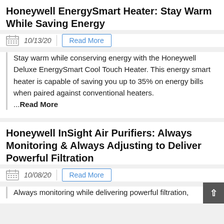Honeywell EnergySmart Heater: Stay Warm While Saving Energy
10/13/20
Stay warm while conserving energy with the Honeywell Deluxe EnergySmart Cool Touch Heater. This energy smart heater is capable of saving you up to 35% on energy bills when paired against conventional heaters. ...Read More
Honeywell InSight Air Purifiers: Always Monitoring & Always Adjusting to Deliver Powerful Filtration
10/08/20
Always monitoring while delivering powerful filtration,